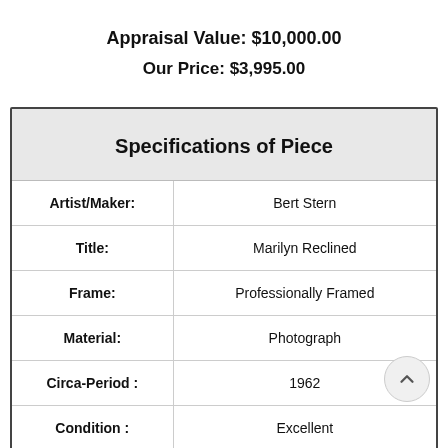Appraisal Value: $10,000.00
Our Price: $3,995.00
| Specifications of Piece |
| --- |
| Artist/Maker: | Bert Stern |
| Title: | Marilyn Reclined |
| Frame: | Professionally Framed |
| Material: | Photograph |
| Circa-Period : | 1962 |
| Condition : | Excellent |